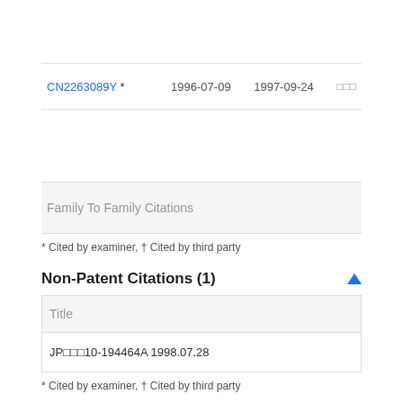| Publication | Date | Date |  |
| --- | --- | --- | --- |
| CN2263089Y * | 1996-07-09 | 1997-09-24 | □□□ |
| Family To Family Citations |  |  |  |
* Cited by examiner, † Cited by third party
Non-Patent Citations (1)
| Title |
| --- |
| JP□□□10-194464A 1998.07.28 |
* Cited by examiner, † Cited by third party
Cited By (13)